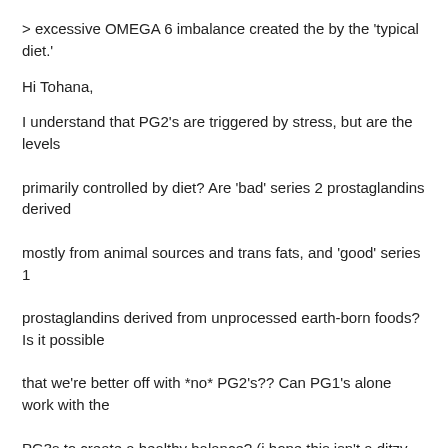> excessive OMEGA 6 imbalance created the by the 'typical diet.'
Hi Tohana,
I understand that PG2's are triggered by stress, but are the levels primarily controlled by diet? Are 'bad' series 2 prostaglandins derived mostly from animal sources and trans fats, and 'good' series 1 prostaglandins derived from unprocessed earth-born foods? Is it possible that we're better off with *no* PG2's?? Can PG1's alone work with the PG3s to create a healthy balance? (i hope this isn't a ditzy question:)
>
> (3)Something else that I came across with regard to EFAs and oxygen is
> that the ability to utilize oxygen may be improved with flax oil (and
> chlorophyll). One of Flax oil's ways of assisting in body oxygenation